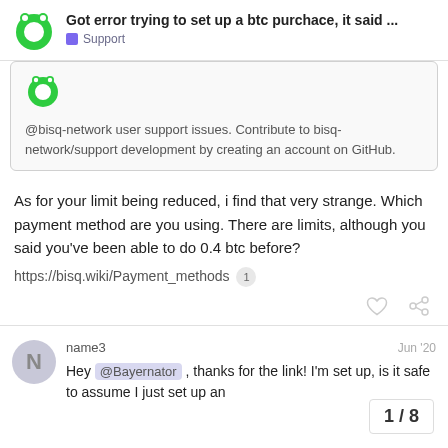Got error trying to set up a btc purchace, it said ... | Support
@bisq-network user support issues. Contribute to bisq-network/support development by creating an account on GitHub.
As for your limit being reduced, i find that very strange. Which payment method are you using. There are limits, although you said you've been able to do 0.4 btc before?
https://bisq.wiki/Payment_methods
name3  Jun '20
Hey @Bayernator , thanks for the link! I'm set up, is it safe to assume I just set up an